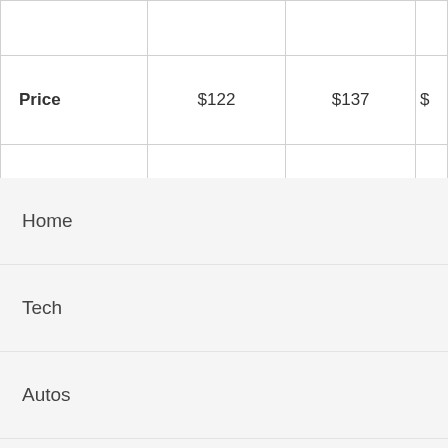| Price | $122 | $137 | $ |
| --- | --- | --- | --- |
Home
Tech
Autos
Lifestyle
Business
Health
Info
Business Directory
kia, Nokia Asha
et with
EAD NEXT
Review →